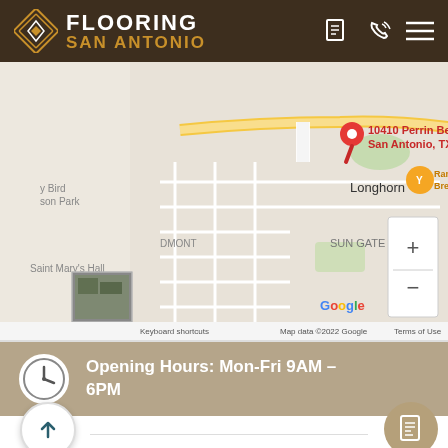[Figure (logo): Flooring San Antonio logo with diamond icon, white FLOORING text and orange SAN ANTONIO text on dark brown background]
[Figure (map): Google Maps screenshot showing location pin at 10410 Perrin Beitel, San Antonio, TX 78284 with surrounding streets including Longhorn area and Sun Gate neighborhood. Map data ©2022 Google.]
Opening Hours: Mon-Fri 9AM - 6PM
Contact: (210)-913-7225